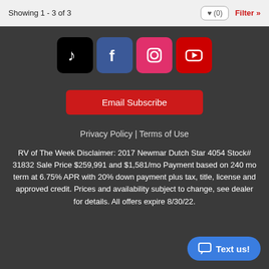Showing 1 - 3 of 3
[Figure (other): Row of social media icons: TikTok (black), Facebook (blue), Instagram (pink), YouTube (red)]
Email Subscribe
Privacy Policy | Terms of Use
RV of The Week Disclaimer: 2017 Newmar Dutch Star 4054 Stock# 31832 Sale Price $259,991 and $1,581/mo Payment based on 240 mo term at 6.75% APR with 20% down payment plus tax, title, license and approved credit. Prices and availability subject to change, see dealer for details. All offers expire 8/30/22.